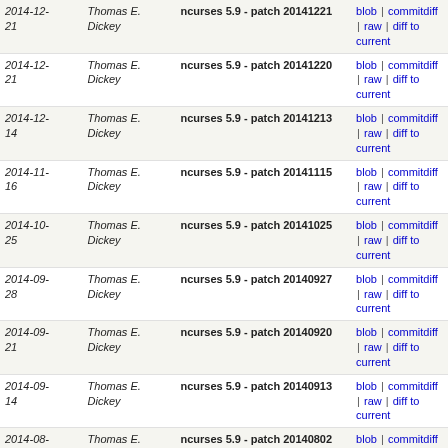| Date | Author | Commit | Links |
| --- | --- | --- | --- |
| 2014-12-21 | Thomas E. Dickey | ncurses 5.9 - patch 20141221 | blob | commitdiff | raw | diff to current |
| 2014-12-21 | Thomas E. Dickey | ncurses 5.9 - patch 20141220 | blob | commitdiff | raw | diff to current |
| 2014-12-14 | Thomas E. Dickey | ncurses 5.9 - patch 20141213 | blob | commitdiff | raw | diff to current |
| 2014-11-16 | Thomas E. Dickey | ncurses 5.9 - patch 20141115 | blob | commitdiff | raw | diff to current |
| 2014-10-25 | Thomas E. Dickey | ncurses 5.9 - patch 20141025 | blob | commitdiff | raw | diff to current |
| 2014-09-28 | Thomas E. Dickey | ncurses 5.9 - patch 20140927 | blob | commitdiff | raw | diff to current |
| 2014-09-21 | Thomas E. Dickey | ncurses 5.9 - patch 20140920 | blob | commitdiff | raw | diff to current |
| 2014-09-14 | Thomas E. Dickey | ncurses 5.9 - patch 20140913 | blob | commitdiff | raw | diff to current |
| 2014-08-03 | Thomas E. Dickey | ncurses 5.9 - patch 20140802 | blob | commitdiff | raw | diff to current |
| 2014-06-07 | Thomas E. Dickey | ncurses 5.9 - patch 20140607 | blob | commitdiff | raw | diff to current |
| 2014-05-25 | Thomas E. Dickey | ncurses 5.9 - patch 20140524 | blob | commitdiff | raw | diff to current |
| 2014-04-26 | Thomas E. Dickey | ncurses 5.9 - patch 20140426 | blob | commitdiff | raw | diff to current |
| 2014-03-23 | Thomas E. Dickey | ncurses 5.9 - patch 20140322 | blob | commitdiff | raw | diff to current |
| 2013-12-... | Thomas E.... | ncurses 5.9 - patch ... | blob | commitdiff | raw | diff to current |